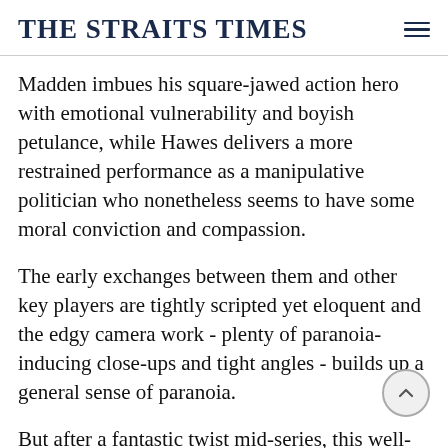THE STRAITS TIMES
Madden imbues his square-jawed action hero with emotional vulnerability and boyish petulance, while Hawes delivers a more restrained performance as a manipulative politician who nonetheless seems to have some moral conviction and compassion.
The early exchanges between them and other key players are tightly scripted yet eloquent and the edgy camera work - plenty of paranoia-inducing close-ups and tight angles - builds up a general sense of paranoia.
But after a fantastic twist mid-series, this well-paced drama goes off the rails a bit.